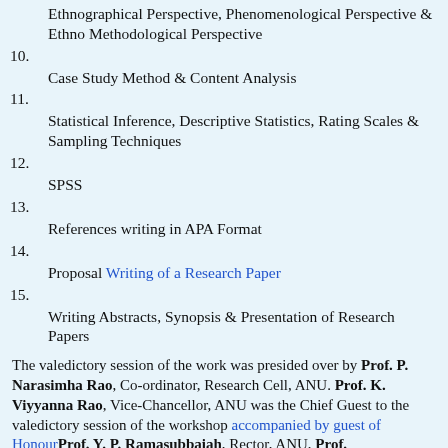Ethnographical Perspective, Phenomenological Perspective & Ethno Methodological Perspective
10. Case Study Method & Content Analysis
11. Statistical Inference, Descriptive Statistics, Rating Scales & Sampling Techniques
12. SPSS
13. References writing in APA Format
14. Proposal Writing of a Research Paper
15. Writing Abstracts, Synopsis & Presentation of Research Papers
The valedictory session of the work was presided over by Prof. P. Narasimha Rao, Co-ordinator, Research Cell, ANU. Prof. K. Viyyanna Rao, Vice-Chancellor, ANU was the Chief Guest to the valedictory session of the workshop accompanied by guest of Honour Prof. Y. P. Ramasubbaiah, Rector, ANU, Prof. R.R.L.Kantam, Registrar, ANU & Prof. C. Beena, Honarary Director of ICSSR-SRC, Hyderabad. Research Methodology materials in the form of DVD's are distributed by Prof. K.